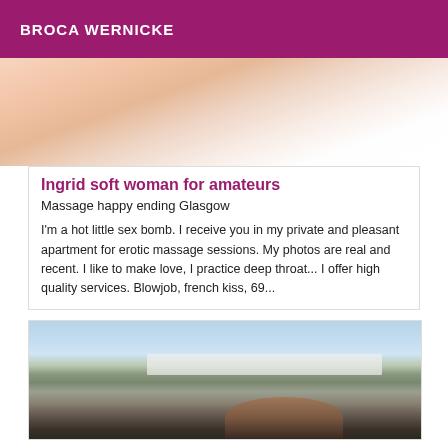BROCA WERNICKE
[Figure (photo): Close-up photo with warm skin tones and white light, partially cropped at top]
Ingrid soft woman for amateurs
Massage happy ending Glasgow
I'm a hot little sex bomb. I receive you in my private and pleasant apartment for erotic massage sessions. My photos are real and recent. I like to make love, I practice deep throat... I offer high quality services. Blowjob, french kiss, 69...
[Figure (photo): Outdoor beach/harbour scene with buildings in background and a person visible at bottom right]